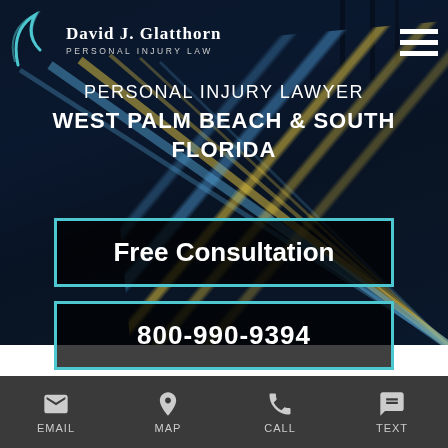[Figure (logo): David J. Glatthorn Personal Injury Law logo with arc swoosh on dark background]
PERSONAL INJURY LAWYER
WEST PALM BEACH & SOUTH FLORIDA
Free Consultation
800-990-9394
EMAIL   MAP   CALL   TEXT